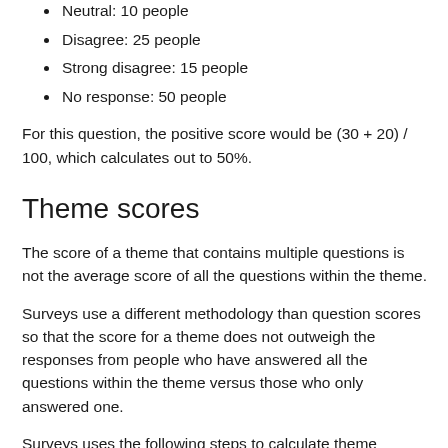Agree: 20 people
Neutral: 10 people
Disagree: 25 people
Strong disagree: 15 people
No response: 50 people
For this question, the positive score would be (30 + 20) / 100, which calculates out to 50%.
Theme scores
The score of a theme that contains multiple questions is not the average score of all the questions within the theme.
Surveys use a different methodology than question scores so that the score for a theme does not outweigh the responses from people who have answered all the questions within the theme versus those who only answered one.
Surveys uses the following steps to calculate theme scores: